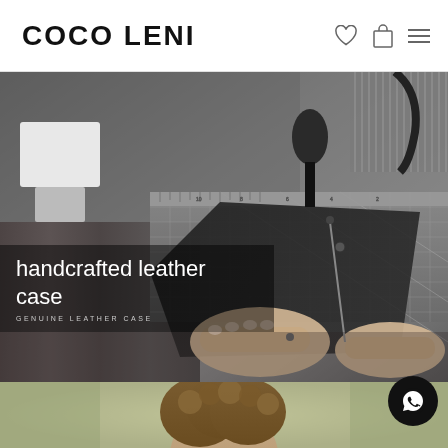COCO LENI
[Figure (photo): Black and white collage of leather crafting tools including awls, hammers, rulers, cutting mats, and hands working with leather pieces. Handcrafted leather case product showcase.]
handcrafted leather case
GENUINE LEATHER CASE
[Figure (photo): Partial view of a person with curly hair, cropped at the bottom of the page, in color with warm tones.]